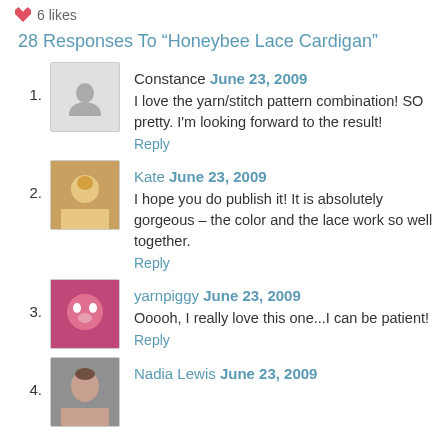6 likes
28 Responses To “Honeybee Lace Cardigan”
1. Constance June 23, 2009 — I love the yarn/stitch pattern combination! SO pretty. I'm looking forward to the result! Reply
2. Kate June 23, 2009 — I hope you do publish it! It is absolutely gorgeous – the color and the lace work so well together. Reply
3. yarnpiggy June 23, 2009 — Ooooh, I really love this one...I can be patient! Reply
4. Nadia Lewis June 23, 2009